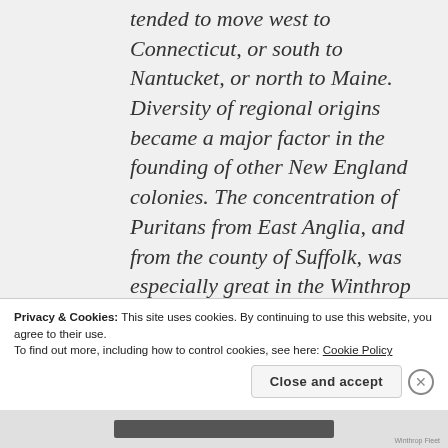tended to move west to Connecticut, or south to Nantucket, or north to Maine. Diversity of regional origins became a major factor in the founding of other New England colonies. The concentration of Puritans from East Anglia, and from the county of Suffolk, was especially great in the Winthrop Fleet of 1630. In the New World, their hegemony became very strong in the present boundaries of Suffolk, Norfolk, Essex and Middlesex counties in
Privacy & Cookies: This site uses cookies. By continuing to use this website, you agree to their use.
To find out more, including how to control cookies, see here: Cookie Policy